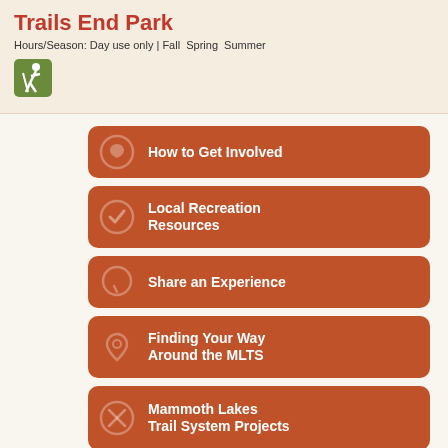Trails End Park
Hours/Season: Day use only | Fall  Spring  Summer
[Figure (infographic): Green square icon with white hiker/skater figure]
How to Get Involved
Local Recreation Resources
Share an Experience
Finding Your Way Around the MLTS
Mammoth Lakes Trail System Projects
About | Contact | Terms | Privacy | Trail News
Mammoth Lakes Trail System